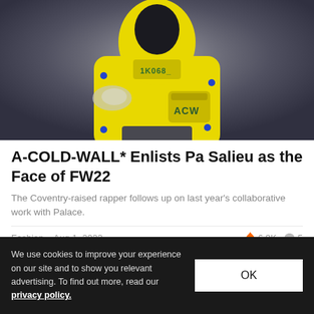[Figure (photo): Person wearing bright yellow hooded sweatshirt/jacket with text '1K068' visible, holding bag, against grey background. A-COLD-WALL* FW22 fashion campaign image.]
A-COLD-WALL* Enlists Pa Salieu as the Face of FW22
The Coventry-raised rapper follows up on last year's collaborative work with Palace.
Fashion   Aug 1, 2022   🔥 6.9K   💬 5
We use cookies to improve your experience on our site and to show you relevant advertising. To find out more, read our privacy policy.